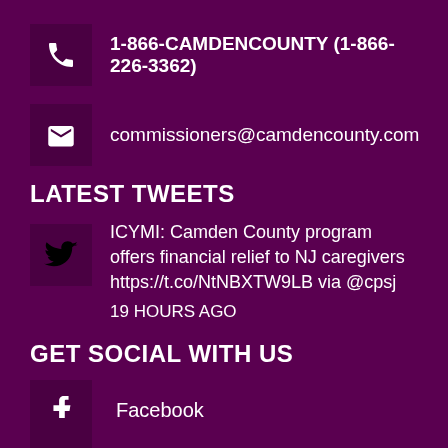1-866-CAMDENCOUNTY (1-866-226-3362)
commissioners@camdencounty.com
LATEST TWEETS
ICYMI: Camden County program offers financial relief to NJ caregivers https://t.co/NtNBXTW9LB via @cpsj
19 HOURS AGO
GET SOCIAL WITH US
Facebook
Twitter